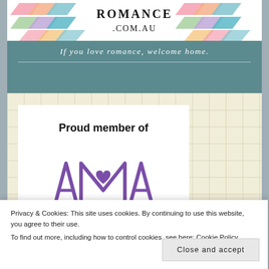[Figure (logo): Romance.com.au logo banner with colorful diamond/chevron shapes and text ROMANCE .COM.AU]
If you love romance, welcome home.
[Figure (illustration): Yellow grid-patterned background with white card showing 'Proud member of' text and AMA (Australian Romance Authors) purple logo]
Proud member of
Privacy & Cookies: This site uses cookies. By continuing to use this website, you agree to their use.
To find out more, including how to control cookies, see here: Cookie Policy
Close and accept